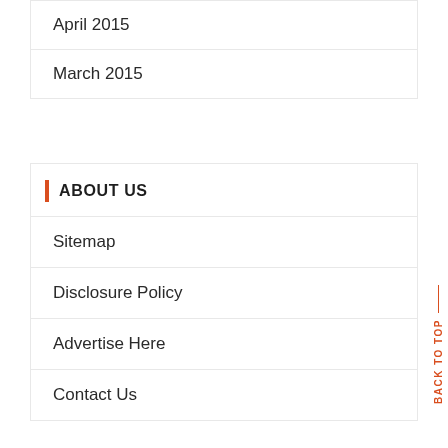April 2015
March 2015
ABOUT US
Sitemap
Disclosure Policy
Advertise Here
Contact Us
BACK TO TOP